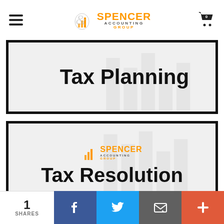Spencer Accounting Group
[Figure (illustration): Tax Planning card with Spencer Accounting Group logo background bars and bold title text 'Tax Planning']
[Figure (illustration): Tax Resolution card with Spencer Accounting Group logo and background bars, bold title text 'Tax Resolution']
1 SHARES | Facebook | Twitter | Email | More